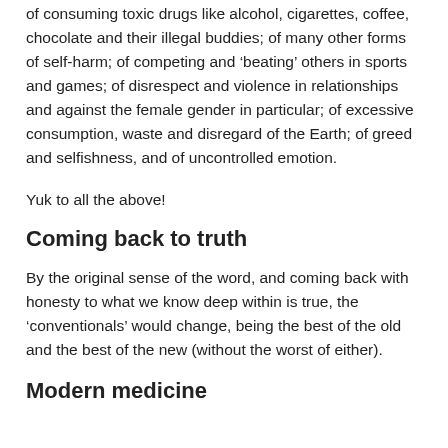of consuming toxic drugs like alcohol, cigarettes, coffee, chocolate and their illegal buddies; of many other forms of self-harm; of competing and 'beating' others in sports and games; of disrespect and violence in relationships and against the female gender in particular; of excessive consumption, waste and disregard of the Earth; of greed and selfishness, and of uncontrolled emotion.
Yuk to all the above!
Coming back to truth
By the original sense of the word, and coming back with honesty to what we know deep within is true, the ‘conventionals’ would change, being the best of the old and the best of the new (without the worst of either).
Modern medicine